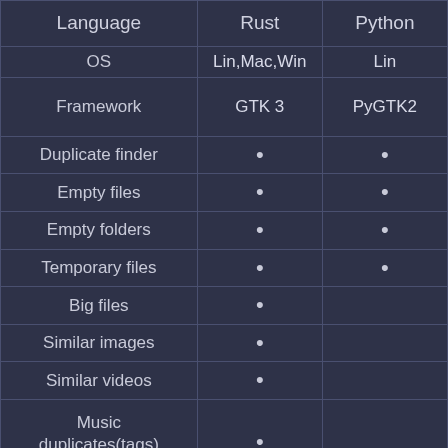|  | Rust | Python |
| --- | --- | --- |
| Language | Rust | Python |
| OS | Lin,Mac,Win | Lin |
| Framework | GTK 3 | PyGTK2 |
| Duplicate finder | • | • |
| Empty files | • | • |
| Empty folders | • | • |
| Temporary files | • | • |
| Big files | • |  |
| Similar images | • |  |
| Similar videos | • |  |
| Music duplicates(tags) | • |  |